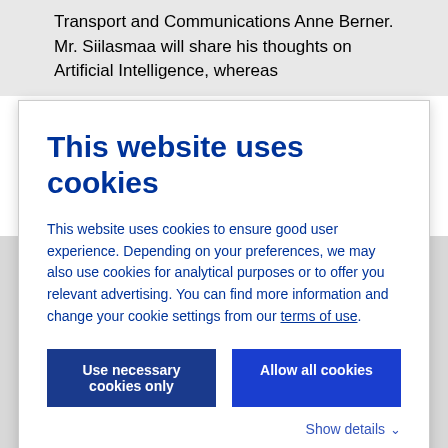Transport and Communications Anne Berner. Mr. Siilasmaa will share his thoughts on Artificial Intelligence, whereas
This website uses cookies
This website uses cookies to ensure good user experience. Depending on your preferences, we may also use cookies for analytical purposes or to offer you relevant advertising. You can find more information and change your cookie settings from our terms of use.
experiences like never before. The uniqueness of Finland is not just in our deep technology knowhow, but in our ability to create and innovate customer-centric services and solutions that drive businesses and organizations forward. That’s why our slogan is #FutureWithFinland.”